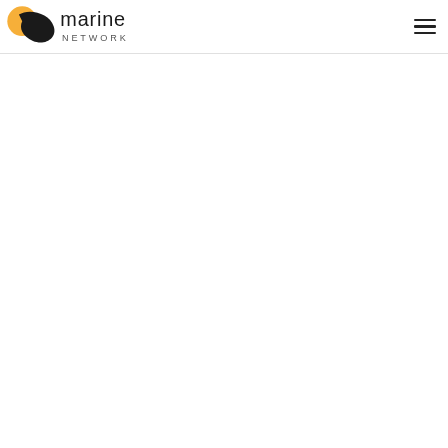marine NETWORK logo and navigation menu
[Figure (logo): Marine Network logo featuring an orange circular swirl shape, a black curved brushstroke, and the text 'marine NETWORK' in dark sans-serif font]